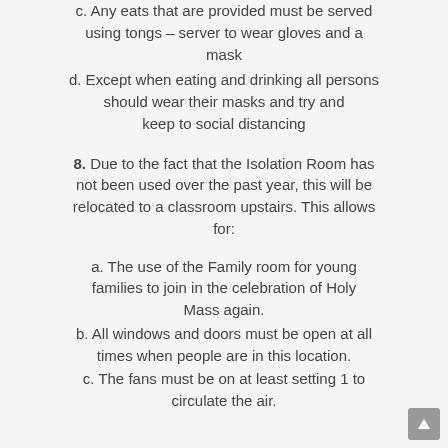c. Any eats that are provided must be served using tongs – server to wear gloves and a mask
d. Except when eating and drinking all persons should wear their masks and try and keep to social distancing
8. Due to the fact that the Isolation Room has not been used over the past year, this will be relocated to a classroom upstairs. This allows for:
a. The use of the Family room for young families to join in the celebration of Holy Mass again.
b. All windows and doors must be open at all times when people are in this location.
c. The fans must be on at least setting 1 to circulate the air.